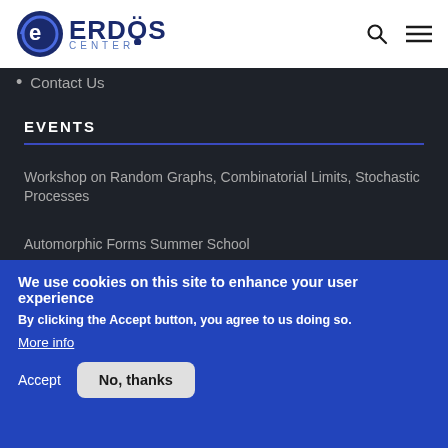Erdos Center
Contact Us
EVENTS
Workshop on Random Graphs, Combinatorial Limits, Stochastic Processes
Automorphic Forms Summer School
Automorphic Forms Conference
School: Optimal Transport on Quantum Structures
We use cookies on this site to enhance your user experience
By clicking the Accept button, you agree to us doing so.
More info
Accept
No, thanks